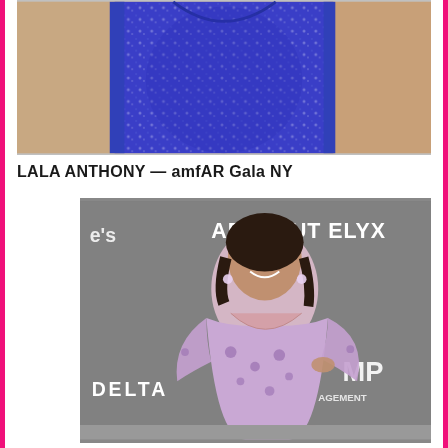[Figure (photo): Cropped photo showing a person in a royal blue sparkly/sequined dress, upper torso and arms visible, cropped at top and bottom]
LALA ANTHONY — amfAR Gala NY
[Figure (photo): Lala Anthony posing at amfAR Gala NY red carpet in a lavender/lilac long-sleeve sheer embellished gown with floral details, standing in front of a backdrop with ABSOLUT ELYX, DELTA, and MP logos]